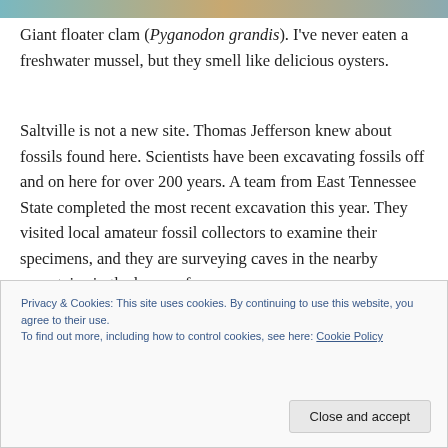[Figure (photo): Colorful image strip at the top of the page, showing what appears to be a fossil or natural scene with teal and brown tones.]
Giant floater clam (Pyganodon grandis).  I've never eaten a freshwater mussel, but they smell like delicious oysters.
Saltville is not a new site.  Thomas Jefferson knew about fossils found here.  Scientists have been excavating fossils off and on here for over 200 years.  A team from East Tennessee State completed the most recent excavation this year.  They visited local amateur fossil collectors to examine their specimens, and they are surveying caves in the nearby mountains in the hopes of
Privacy & Cookies: This site uses cookies. By continuing to use this website, you agree to their use.
To find out more, including how to control cookies, see here: Cookie Policy